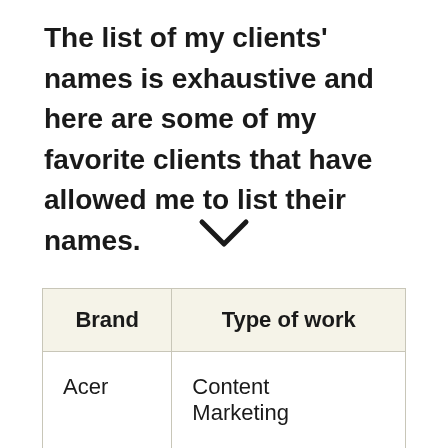The list of my clients' names is exhaustive and here are some of my favorite clients that have allowed me to list their names.
[Figure (other): A downward-pointing chevron / arrow icon]
| Brand | Type of work |
| --- | --- |
| Acer | Content
Marketing |
| Adobe | Content
Marketing |
|  | Local SEO and |